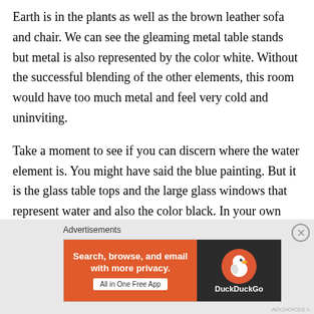Earth is in the plants as well as the brown leather sofa and chair. We can see the gleaming metal table stands but metal is also represented by the color white. Without the successful blending of the other elements, this room would have too much metal and feel very cold and uninviting.
Take a moment to see if you can discern where the water element is. You might have said the blue painting. But it is the glass table tops and the large glass windows that represent water and also the color black. In your own home, you can add water element through color, through pictures or paintings of water, through actual water features, or use of glass and mirrors.
[Figure (other): DuckDuckGo advertisement banner with orange left panel reading 'Search, browse, and email with more privacy. All in One Free App' and dark right panel with DuckDuckGo duck logo and brand name.]